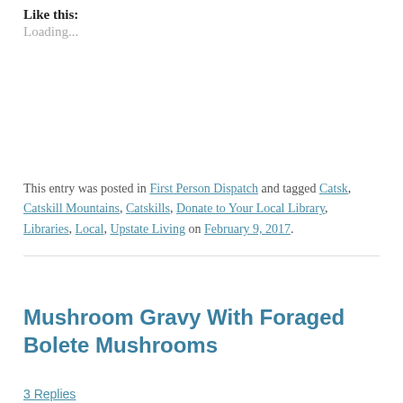Like this:
Loading...
This entry was posted in First Person Dispatch and tagged Catsk, Catskill Mountains, Catskills, Donate to Your Local Library, Libraries, Local, Upstate Living on February 9, 2017.
Mushroom Gravy With Foraged Bolete Mushrooms
3 Replies